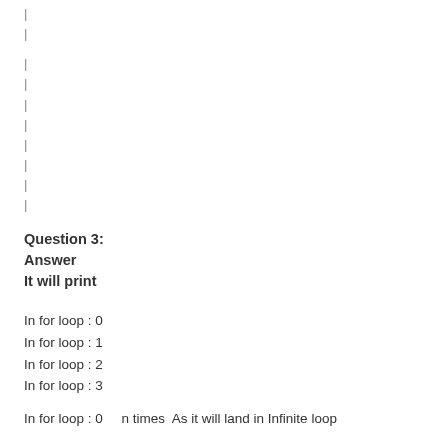|
|
|
|
|
|
|
|
|
Question 3:
Answer
It will print
In for loop : 0
In for loop : 1
In for loop : 2
In for loop : 3
In for loop : 0      n times  As it will land in Infinite loop